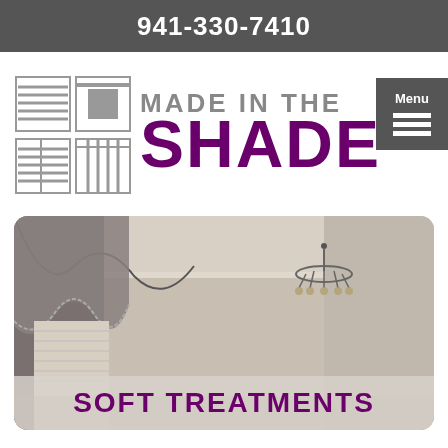941-330-7410
[Figure (logo): Made in the Shade logo with window treatment grid icons and purple/grey typography, plus Menu button]
[Figure (photo): Interior room photo showing elegant curtain soft treatments with valance and chandelier, in grey/beige tones]
SOFT TREATMENTS